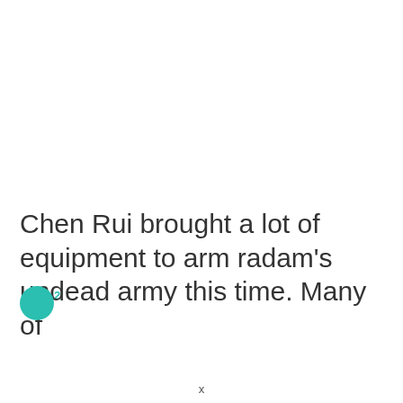Chen Rui brought a lot of equipment to arm radam's undead army this time. Many of
x